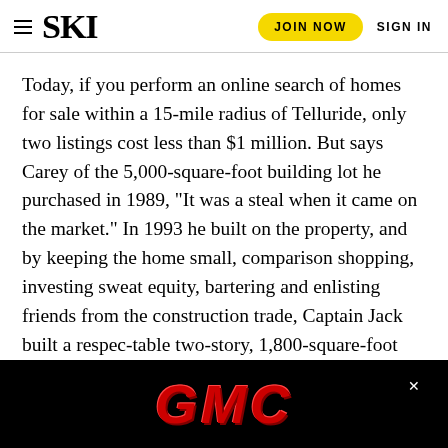SKI | JOIN NOW | SIGN IN
Today, if you perform an online search of homes for sale within a 15-mile radius of Telluride, only two listings cost less than $1 million. But says Carey of the 5,000-square-foot building lot he purchased in 1989, “It was a steal when it came on the market.” In 1993 he built on the property, and by keeping the home small, comparison shopping, investing sweat equity, bartering and enlisting friends from the construction trade, Captain Jack built a respec-table two-story, 1,800-square-foot home on a ski bum’s salary. He doesn’t have a mortgage. Frugality, creativity, flexibility, sweat equity-these are values at the heart of Carey’s modus operandi.
Although his income is mainly harvested in the summer and in some ye... the $9,000...
[Figure (logo): GMC logo advertisement banner in red metallic letters on black background]